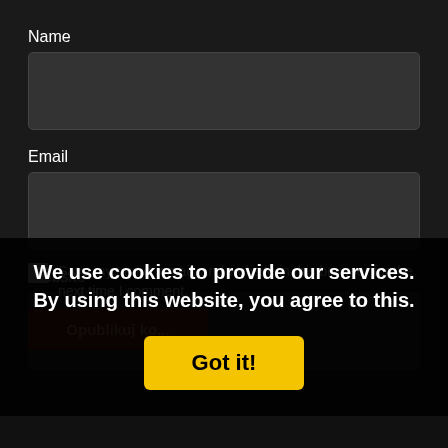Name
Email
Website
Save my name, email, and website in this browser for the next time I comment.
Opublikuj ko...
We use cookies to provide our services. By using this website, you agree to this.
Got it!
More information